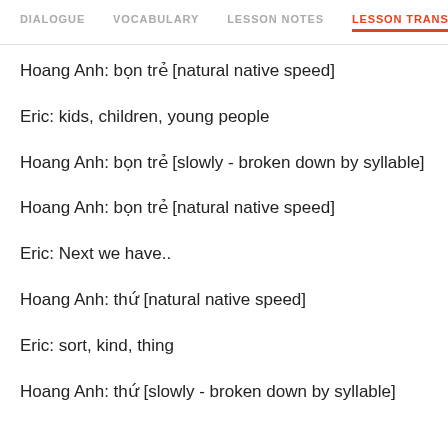DIALOGUE  VOCABULARY  LESSON NOTES  LESSON TRANSCRIPT
Hoang Anh: bọn trẻ [natural native speed]
Eric: kids, children, young people
Hoang Anh: bọn trẻ [slowly - broken down by syllable]
Hoang Anh: bọn trẻ [natural native speed]
Eric: Next we have..
Hoang Anh: thứ [natural native speed]
Eric: sort, kind, thing
Hoang Anh: thứ [slowly - broken down by syllable]